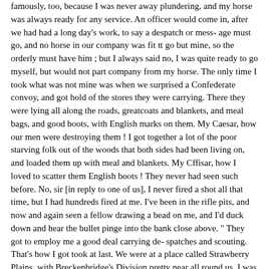famously, too, because I was never away plundering, and my horse was always ready for any service. An officer would come in, after we had had a long day's work, to say a despatch or mess- age must go, and no horse in our company was fit tt go but mine, so the orderly must have him ; but I always said no, I was quite ready to go myself, but would not part company from my horse. The only time I took what was not mine was when we surprised a Confederate convoy, and got hold of the stores they were carrying. There they were lying all along the roads, greatcoats and blankets, and meal bags, and good boots, with English marks on them. My Caesar, how our men were destroying them ! I got together a lot of the poor starving folk out of the woods that both sides had been living on, and loaded them up with meal and blankets. My Cffisar, how I loved to scatter them English boots ! They never had seen such before. No, sir [in reply to one of us], I never fired a shot all that time, but I had hundreds fired at me. I've been in the rifle pits, and now and again seen a fellow drawing a bead on me, and I'd duck down and hear the bullet pinge into the bank close above. " They got to employ me a good deal carrying de- spatches and scouting. That's how I got took at last. We were at a place called Strawberry Plains, with Breckenbridge's Division pretty near all round us. I was sent out with twelve other men, to try and draw them out, to show their force and position ; and so we did, but they were too quick for us. Out they came, CHAP, vi.] OUR FORESTER. 75 and it was a race back to our lines down a steep